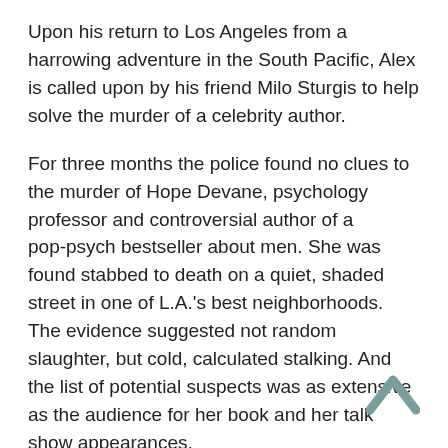Upon his return to Los Angeles from a harrowing adventure in the South Pacific, Alex is called upon by his friend Milo Sturgis to help solve the murder of a celebrity author.
For three months the police found no clues to the murder of Hope Devane, psychology professor and controversial author of a pop-psych bestseller about men. She was found stabbed to death on a quiet, shaded street in one of L.A.'s best neighborhoods. The evidence suggested not random slaughter, but cold, calculated stalking. And the list of potential suspects was as extensive as the audience for her book and her talk show appearances.
Newly assigned to the cold case, homicide detective Milo Sturgis calls on his friend, Dr. Alex Delaware to seek out insights into the victim's high-profile life. What Alex uncovers is a series of troubling inconsistencies about Hope, including her contradictory personas: the sensational, anti-male bestselling author versus the low-key scholarly university professor.